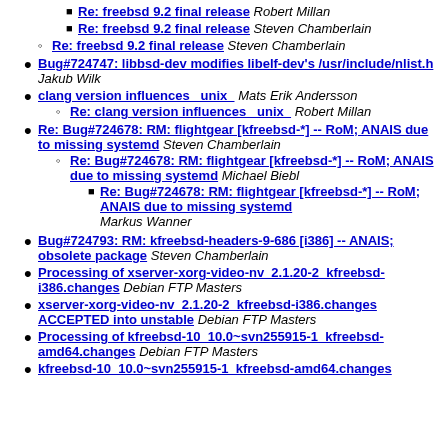Re: freebsd 9.2 final release Robert Millan
Re: freebsd 9.2 final release Steven Chamberlain
Re: freebsd 9.2 final release Steven Chamberlain
Bug#724747: libbsd-dev modifies libelf-dev's /usr/include/nlist.h Jakub Wilk
clang version influences  unix  Mats Erik Andersson
Re: clang version influences  unix  Robert Millan
Re: Bug#724678: RM: flightgear [kfreebsd-*] -- RoM; ANAIS due to missing systemd Steven Chamberlain
Re: Bug#724678: RM: flightgear [kfreebsd-*] -- RoM; ANAIS due to missing systemd Michael Biebl
Re: Bug#724678: RM: flightgear [kfreebsd-*] -- RoM; ANAIS due to missing systemd Markus Wanner
Bug#724793: RM: kfreebsd-headers-9-686 [i386] -- ANAIS; obsolete package Steven Chamberlain
Processing of xserver-xorg-video-nv_2.1.20-2_kfreebsd-i386.changes Debian FTP Masters
xserver-xorg-video-nv_2.1.20-2_kfreebsd-i386.changes ACCEPTED into unstable Debian FTP Masters
Processing of kfreebsd-10_10.0~svn255915-1_kfreebsd-amd64.changes Debian FTP Masters
kfreebsd-10_10.0~svn255915-1_kfreebsd-amd64.changes